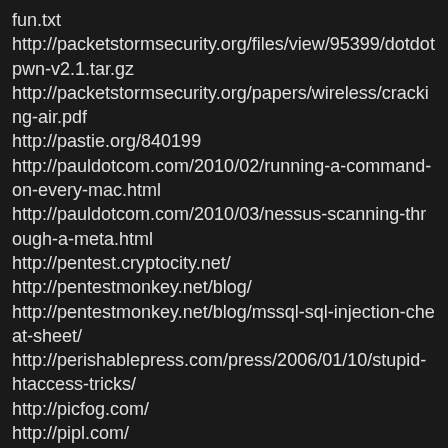fun.txt
http://packetstormsecurity.org/files/view/95399/dotdotpwn-v2.1.tar.gz
http://packetstormsecurity.org/papers/wireless/cracking-air.pdf
http://pastie.org/840199
http://pauldotcom.com/2010/02/running-a-command-on-every-mac.html
http://pauldotcom.com/2010/03/nessus-scanning-through-a-meta.html
http://pentest.cryptocity.net/
http://pentestmonkey.net/blog/
http://pentestmonkey.net/blog/mssql-sql-injection-cheat-sheet/
http://perishablepress.com/press/2006/01/10/stupid-htaccess-tricks/
http://picfog.com/
http://pipl.com/
http://preachsecurity.blogspot.com/
http://punter-infosec.com/
http://pynstrom.net/holynix.php
http://r00tsec.blogspot.com/2011/03/pr10-08-various-xss-